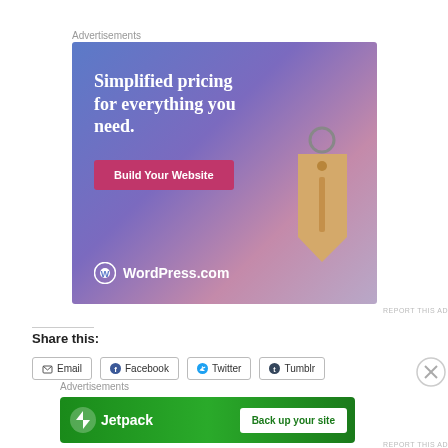Advertisements
[Figure (illustration): WordPress.com advertisement banner with blue-purple gradient background, white serif text 'Simplified pricing for everything you need.', pink 'Build Your Website' button, a 3D tan price tag hanging from a ring, and WordPress.com logo at bottom left.]
REPORT THIS AD
Share this:
Email
Facebook
Twitter
Tumblr
Advertisements
[Figure (illustration): Jetpack advertisement banner with green gradient background, Jetpack lightning bolt logo and name on left, white 'Back up your site' button on right.]
REPORT THIS AD